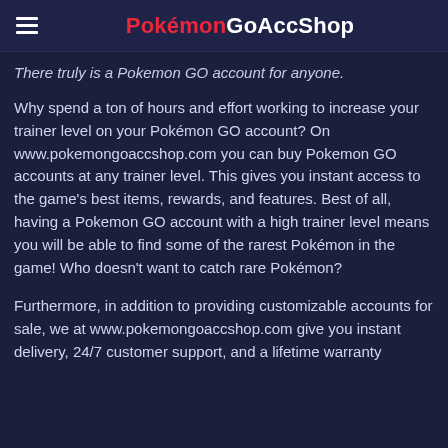PokémonGoAccShop
There truly is a Pokemon GO account for anyone.
Why spend a ton of hours and effort working to increase your trainer level on your Pokémon GO account? On www.pokemongoaccshop.com you can buy Pokemon GO accounts at any trainer level. This gives you instant access to the game's best items, rewards, and features. Best of all, having a Pokemon GO account with a high trainer level means you will be able to find some of the rarest Pokémon in the game! Who doesn't want to catch rare Pokémon?
Furthermore, in addition to providing customizable accounts for sale, we at www.pokemongoaccshop.com give you instant delivery, 24/7 customer support, and a lifetime warranty